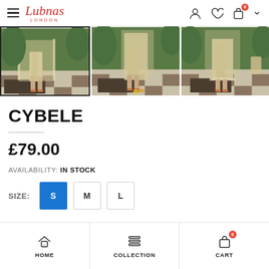Lubnas London — navigation header with hamburger menu, logo, user icon, wishlist icon, cart icon (0)
[Figure (photo): Three product thumbnail images of a woman wearing a beige/cream embroidered outfit (trousers and dupatta visible), standing on a checkered floor in front of green hedges. The first image is selected (has a black border).]
CYBELE
£79.00
AVAILABILITY: IN STOCK
SIZE: S M L
HOME  COLLECTION  CART (0)